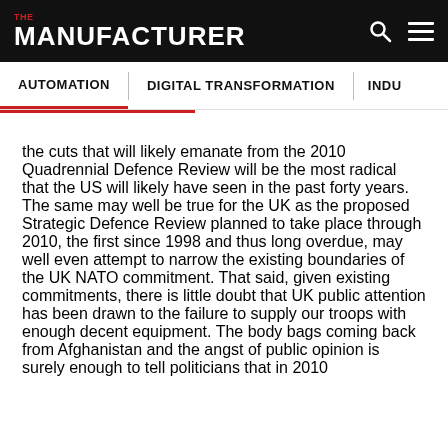THE MANUFACTURER
AUTOMATION | DIGITAL TRANSFORMATION | INDU
the cuts that will likely emanate from the 2010 Quadrennial Defence Review will be the most radical that the US will likely have seen in the past forty years. The same may well be true for the UK as the proposed Strategic Defence Review planned to take place through 2010, the first since 1998 and thus long overdue, may well even attempt to narrow the existing boundaries of the UK NATO commitment. That said, given existing commitments, there is little doubt that UK public attention has been drawn to the failure to supply our troops with enough decent equipment. The body bags coming back from Afghanistan and the angst of public opinion is surely enough to tell politicians that in 2010